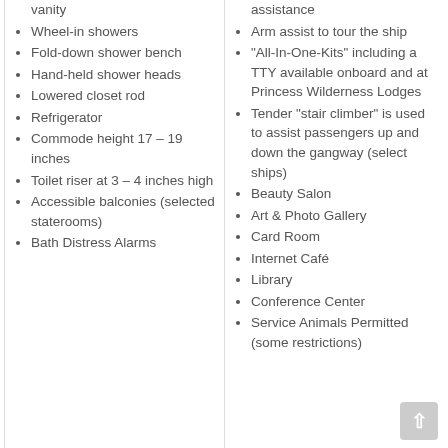vanity
Wheel-in showers
Fold-down shower bench
Hand-held shower heads
Lowered closet rod
Refrigerator
Commode height 17 – 19 inches
Toilet riser at 3 – 4 inches high
Accessible balconies (selected staterooms)
Bath Distress Alarms
assistance
Arm assist to tour the ship
“All-In-One-Kits” including a TTY available onboard and at Princess Wilderness Lodges
Tender “stair climber” is used to assist passengers up and down the gangway (select ships)
Beauty Salon
Art & Photo Gallery
Card Room
Internet Café
Library
Conference Center
Service Animals Permitted (some restrictions)